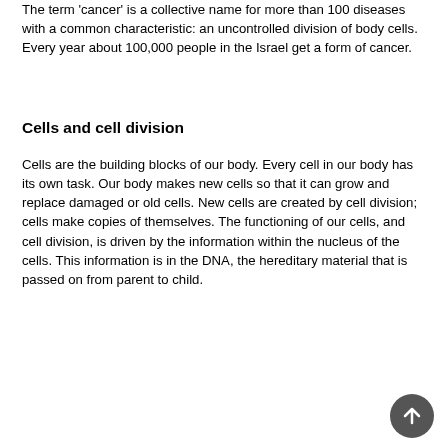The term 'cancer' is a collective name for more than 100 diseases with a common characteristic: an uncontrolled division of body cells. Every year about 100,000 people in the Israel get a form of cancer.
Cells and cell division
Cells are the building blocks of our body. Every cell in our body has its own task. Our body makes new cells so that it can grow and replace damaged or old cells. New cells are created by cell division; cells make copies of themselves. The functioning of our cells, and cell division, is driven by the information within the nucleus of the cells. This information is in the DNA, the hereditary material that is passed on from parent to child.